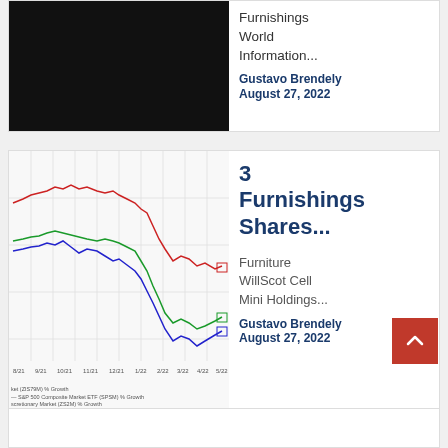[Figure (photo): Black image block (article thumbnail)]
Furnishings World Information...
Gustavo Brendely
August 27, 2022
[Figure (line-chart): Multi-line stock performance chart showing three series (red, green, blue) from 8/21 to 5/22 with declining trend]
3 Furnishings Shares...
Furniture WillScot Cell Mini Holdings...
Gustavo Brendely
August 27, 2022